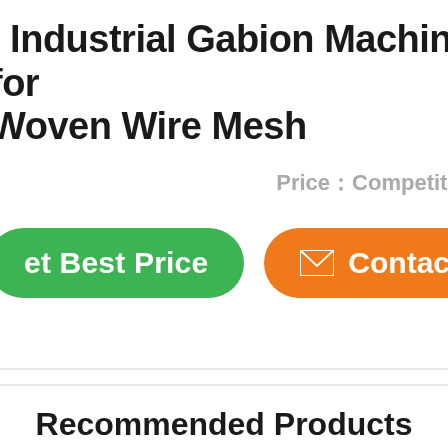l Industrial Gabion Machine for Woven Wire Mesh
t  Price：Competitive
[Figure (other): Green rounded button labeled 'et Best Price' and orange rounded button labeled with envelope icon and 'Contac']
Recommended Products